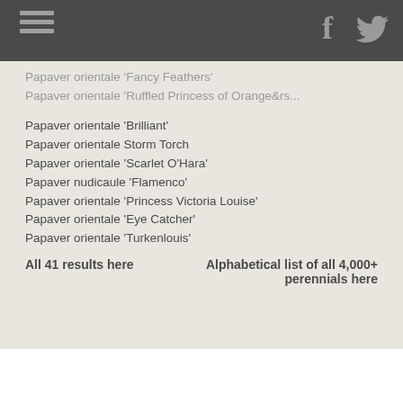Papaver orientale 'Fancy Feathers'
Papaver orientale ‘Ruffled Princess of Orange&rs...
Papaver orientale ‘Brilliant’
Papaver orientale Storm Torch
Papaver orientale ‘Scarlet O’Hara’
Papaver nudicaule ‘Flamenco’
Papaver orientale ‘Princess Victoria Louise’
Papaver orientale ‘Eye Catcher’
Papaver orientale ‘Turkenlouis’
All 41 results here
Alphabetical list of all 4,000+ perennials here